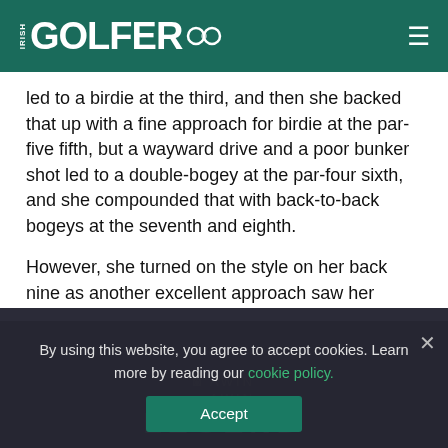IRISH GOLFER
led to a birdie at the third, and then she backed that up with a fine approach for birdie at the par-five fifth, but a wayward drive and a poor bunker shot led to a double-bogey at the par-four sixth, and she compounded that with back-to-back bogeys at the seventh and eighth.
However, she turned on the style on her back nine as another excellent approach saw her birdie the par-four 10th, before she hit the green in two at the 11th for another birdie, and a five-foot putt dropped to get her into red figures at the par-four 17th.
By using this website, you agree to accept cookies. Learn more by reading our cookie policy.
Accept